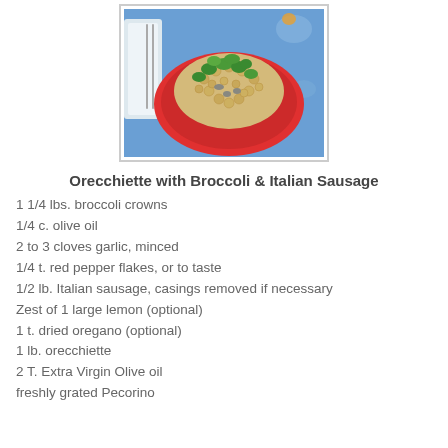[Figure (photo): A red plate with orecchiette pasta, broccoli, and Italian sausage on a blue floral tablecloth background]
Orecchiette with Broccoli & Italian Sausage
1 1/4 lbs. broccoli crowns
1/4 c. olive oil
2 to 3 cloves garlic, minced
1/4 t. red pepper flakes, or to taste
1/2 lb. Italian sausage, casings removed if necessary
Zest of 1 large lemon (optional)
1 t. dried oregano (optional)
1 lb. orecchiette
2 T. Extra Virgin Olive oil
freshly grated Pecorino